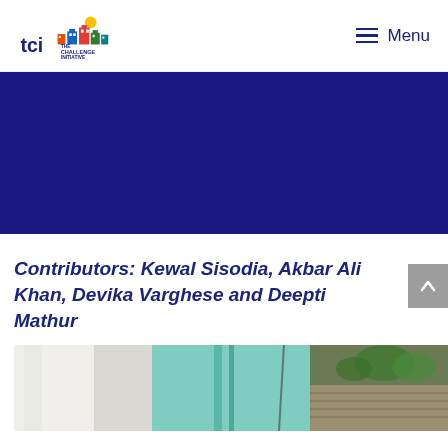TCI The Challenge Initiative — Menu
[Figure (photo): Dark navy blue banner image area]
Contributors: Kewal Sisodia, Akbar Ali Khan, Devika Varghese and Deepti Mathur
[Figure (photo): Street-level photograph showing colorful painted walls and rooftops]